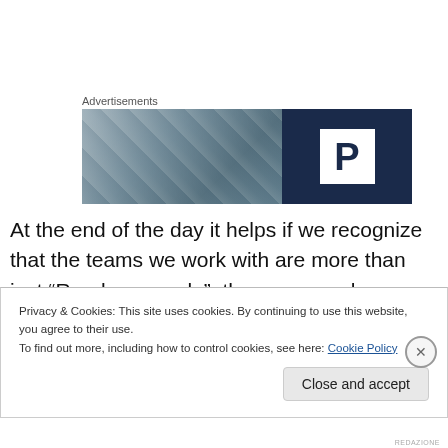Advertisements
[Figure (illustration): Advertisement banner with a blurred photograph on the left side and a dark navy blue panel on the right displaying a white 'P' letter in a white square box.]
At the end of the day it helps if we recognize that the teams we work with are more than just “Random people”; they are people we spend several hours with, they are friends, people we trust, can openly collaborate with and
Privacy & Cookies: This site uses cookies. By continuing to use this website, you agree to their use.
To find out more, including how to control cookies, see here: Cookie Policy
Close and accept